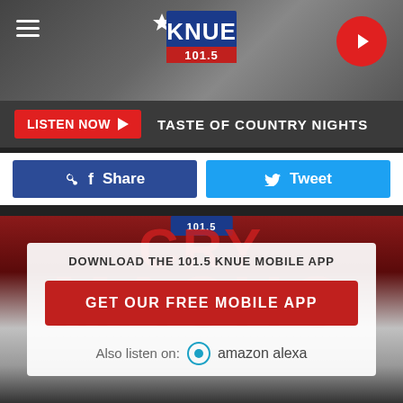[Figure (screenshot): KNUE 101.5 radio station mobile app screenshot showing header banner with logo, Listen Now bar, social share buttons, and a mobile app download prompt overlay on a background image with text CRY MACHO.]
KNUE 101.5
LISTEN NOW ▶  TASTE OF COUNTRY NIGHTS
f Share
Tweet
DOWNLOAD THE 101.5 KNUE MOBILE APP
GET OUR FREE MOBILE APP
Also listen on:  amazon alexa